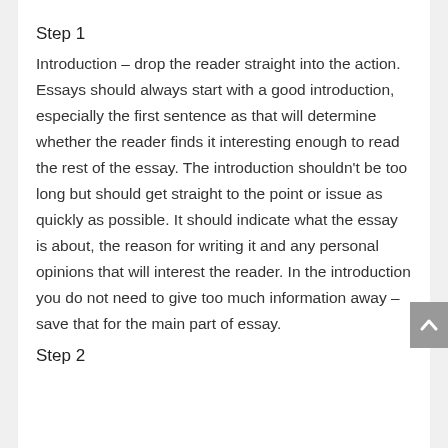Step 1
Introduction – drop the reader straight into the action. Essays should always start with a good introduction, especially the first sentence as that will determine whether the reader finds it interesting enough to read the rest of the essay. The introduction shouldn't be too long but should get straight to the point or issue as quickly as possible. It should indicate what the essay is about, the reason for writing it and any personal opinions that will interest the reader. In the introduction you do not need to give too much information away – save that for the main part of essay.
Step 2